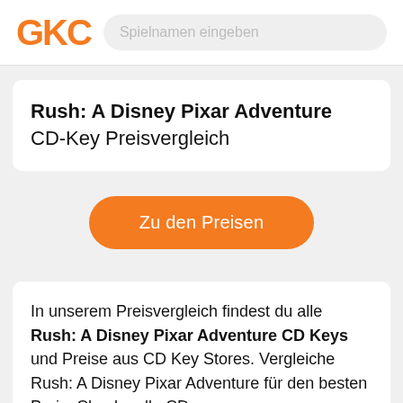GKC   Spielnamen eingeben
Rush: A Disney Pixar Adventure CD-Key Preisvergleich
Zu den Preisen
In unserem Preisvergleich findest du alle Rush: A Disney Pixar Adventure CD Keys und Preise aus CD Key Stores. Vergleiche Rush: A Disney Pixar Adventure für den besten Preis. Checke alle CD